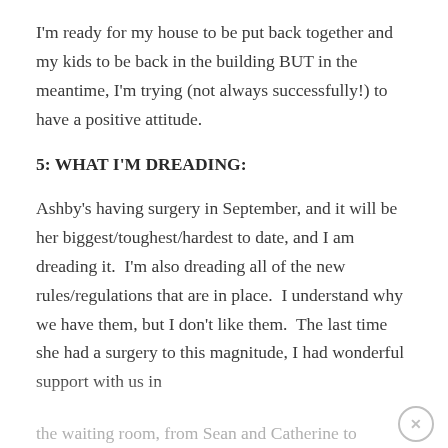I'm ready for my house to be put back together and my kids to be back in the building BUT in the meantime, I'm trying (not always successfully!) to have a positive attitude.
5: WHAT I'M DREADING:
Ashby's having surgery in September, and it will be her biggest/toughest/hardest to date, and I am dreading it.  I'm also dreading all of the new rules/regulations that are in place.  I understand why we have them, but I don't like them.  The last time she had a surgery to this magnitude, I had wonderful support with us in
the waiting room, from Sean and Catherine to